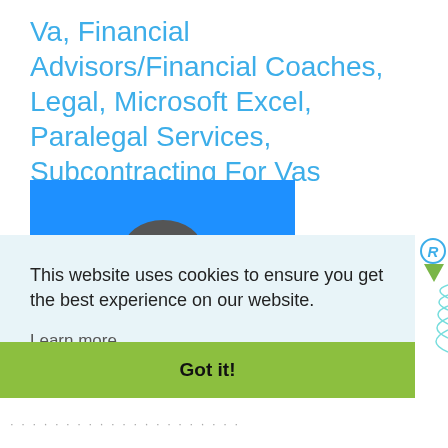Va, Financial Advisors/Financial Coaches, Legal, Microsoft Excel, Paralegal Services, Subcontracting For Vas
[Figure (photo): A person's head/portrait photo with a blue background banner, partially visible]
This website uses cookies to ensure you get the best experience on our website.
Learn more
Got it!